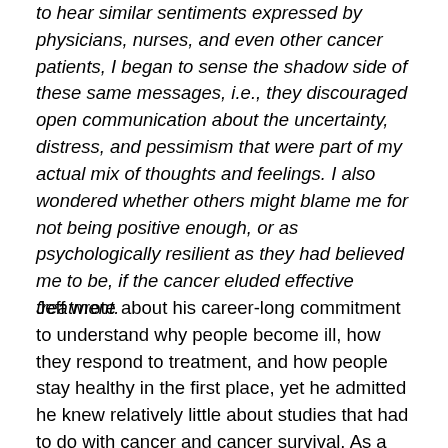to hear similar sentiments expressed by physicians, nurses, and even other cancer patients, I began to sense the shadow side of these same messages, i.e., they discouraged open communication about the uncertainty, distress, and pessimism that were part of my actual mix of thoughts and feelings. I also wondered whether others might blame me for not being positive enough, or as psychologically resilient as they had believed me to be, if the cancer eluded effective treatment.
Jeff wrote about his career-long commitment to understand why people become ill, how they respond to treatment, and how people stay healthy in the first place, yet he admitted he knew relatively little about studies that had to do with cancer and cancer survival. As a result of his research, he listed a number of articles that addressed positivity and cancer, some pro, some con. The articles